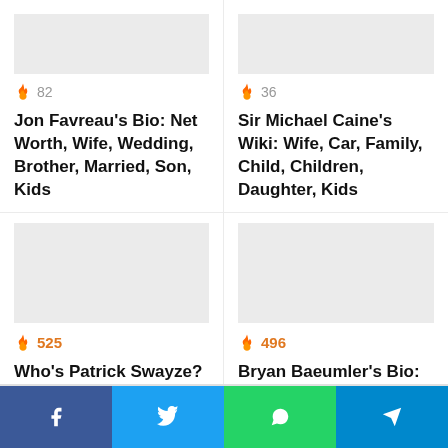[Figure (other): Article card: Jon Favreau's Bio with fire/hot icon showing 82 views]
82
Jon Favreau's Bio: Net Worth, Wife, Wedding, Brother, Married, Son, Kids
[Figure (other): Article card: Sir Michael Caine's Wiki with fire/hot icon showing 36 views]
36
Sir Michael Caine's Wiki: Wife, Car, Family, Child, Children, Daughter, Kids
[Figure (other): Article card: Patrick Swayze Wiki with fire/hot icon showing 525 views]
525
Who's Patrick Swayze? Wiki: Death, Wife, Brother, Kids, House, Son, Net Worth
[Figure (other): Article card: Bryan Baeumler's Bio with fire/hot icon showing 496 views]
496
Bryan Baeumler's Bio: House, Net Worth, Education, Salary, Wife, Wedding
Social share bar: Facebook, Twitter, WhatsApp, Telegram